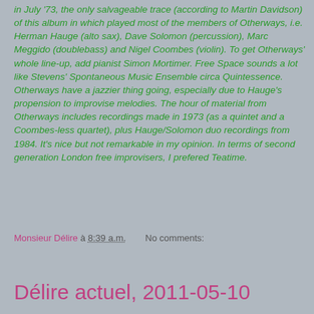in July '73, the only salvageable trace (according to Martin Davidson) of this album in which played most of the members of Otherways, i.e. Herman Hauge (alto sax), Dave Solomon (percussion), Marc Meggido (doublebass) and Nigel Coombes (violin). To get Otherways' whole line-up, add pianist Simon Mortimer. Free Space sounds a lot like Stevens' Spontaneous Music Ensemble circa Quintessence. Otherways have a jazzier thing going, especially due to Hauge's propension to improvise melodies. The hour of material from Otherways includes recordings made in 1973 (as a quintet and a Coombes-less quartet), plus Hauge/Solomon duo recordings from 1984. It's nice but not remarkable in my opinion. In terms of second generation London free improvisers, I prefered Teatime.
Monsieur Délire à 8:39 a.m.   No comments:
Share
Délire actuel, 2011-05-10